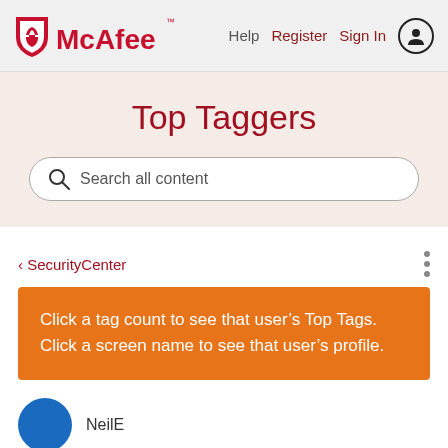McAfee — Help | Register | Sign In
Top Taggers
Search all content
‹ SecurityCenter
Click a tag count to see that user's Top Tags. Click a screen name to see that user's profile.
NeilE